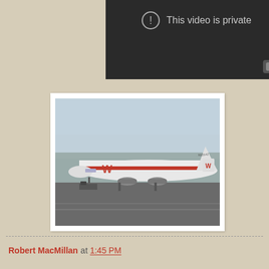[Figure (screenshot): YouTube-style private video placeholder with dark background, exclamation circle icon, and 'This video is private' text, with a YouTube play button in the bottom right corner.]
[Figure (photo): Photograph of a Western Airlines Boeing 707 aircraft on an airport tarmac, with overcast sky, trees in background. The aircraft is white with red 'W' logo and red stripe along the fuselage.]
Robert MacMillan at 1:45 PM